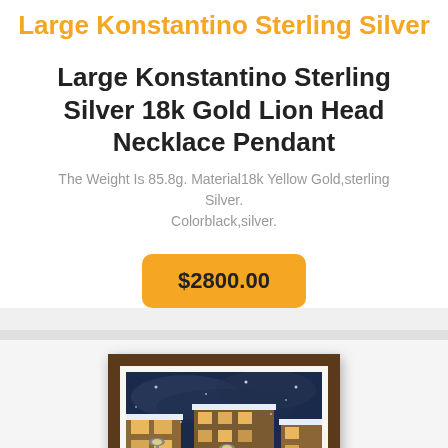Large Konstantino Sterling Silver
Large Konstantino Sterling Silver 18k Gold Lion Head Necklace Pendant
The Weight Is 85.8g. Material18k Yellow Gold,sterling Silver. Colorblack,silver.
$2800.00
[Figure (photo): A framed painting depicting a snowy winter street scene at night with illuminated buildings and figures]